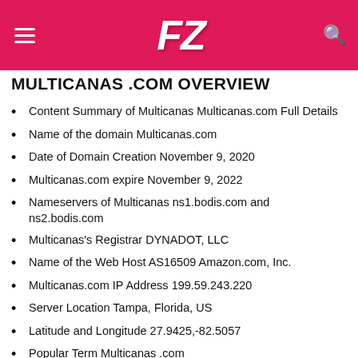FZ [logo] — hamburger menu and search icon
MULTICANAS .COM OVERVIEW
Content Summary of Multicanas Multicanas.com Full Details
Name of the domain Multicanas.com
Date of Domain Creation November 9, 2020
Multicanas.com expire November 9, 2022
Nameservers of Multicanas ns1.bodis.com and ns2.bodis.com
Multicanas's Registrar DYNADOT, LLC
Name of the Web Host AS16509 Amazon.com, Inc.
Multicanas.com IP Address 199.59.243.220
Server Location Tampa, Florida, US
Latitude and Longitude 27.9425,-82.5057
Popular Term Multicanas .com
Popular Traffic Country Brazil
Category of the Website Website